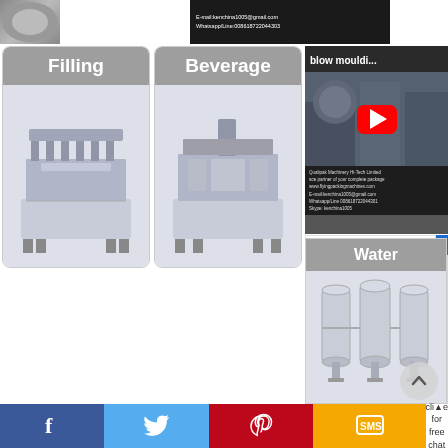[Figure (screenshot): Top banner showing a partial image on left, and a dark panel with email and WhatsApp contact info text]
[Figure (photo): Filling machine category box with grey header label 'Filling' and an industrial filling machine photo below]
[Figure (photo): Beverage machine category box with grey header label 'Beverage' and an industrial beverage machine photo below]
[Figure (screenshot): YouTube video thumbnail showing 'blow mouldi...' title with a red play button over industrial machinery, and contact info overlay]
[Figure (photo): Water category box with grey header label 'Water' and industrial water filtration tanks photo below]
[Figure (photo): Customer service agent photo: a woman wearing a headset, smiling, with '7/24 online' orange text above]
[Figure (screenshot): Bottom social media bar with Facebook, Twitter, Pinterest, SMS icons and a scroll-to-top button, plus 'click for free chat' text]